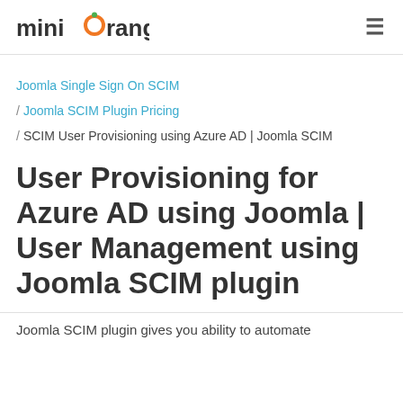miniOrange [logo] ≡
Joomla Single Sign On SCIM / Joomla SCIM Plugin Pricing / SCIM User Provisioning using Azure AD | Joomla SCIM
User Provisioning for Azure AD using Joomla | User Management using Joomla SCIM plugin
Joomla SCIM plugin gives you ability to automate